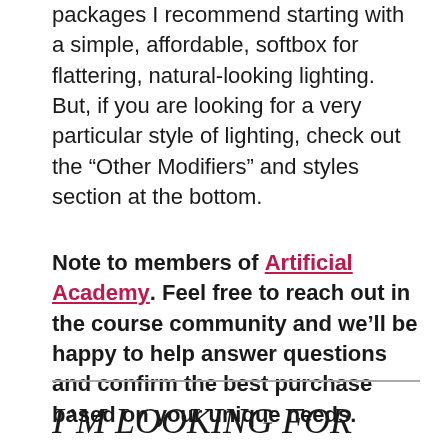packages I recommend starting with a simple, affordable, softbox for flattering, natural-looking lighting. But, if you are looking for a very particular style of lighting, check out the “Other Modifiers” and styles section at the bottom.
Note to members of Artificial Academy. Feel free to reach out in the course community and we’ll be happy to help answer questions and confirm the best purchase based on your unique needs.
I’M LOOKING FOR THE